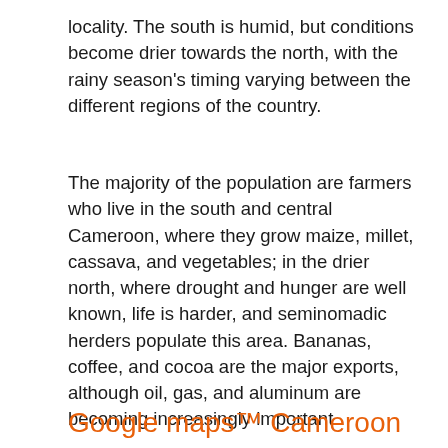locality. The south is humid, but conditions become drier towards the north, with the rainy season's timing varying between the different regions of the country.
The majority of the population are farmers who live in the south and central Cameroon, where they grow maize, millet, cassava, and vegetables; in the drier north, where drought and hunger are well known, life is harder, and seminomadic herders populate this area. Bananas, coffee, and cocoa are the major exports, although oil, gas, and aluminum are becoming increasingly important.
Google maps™ Cameroon